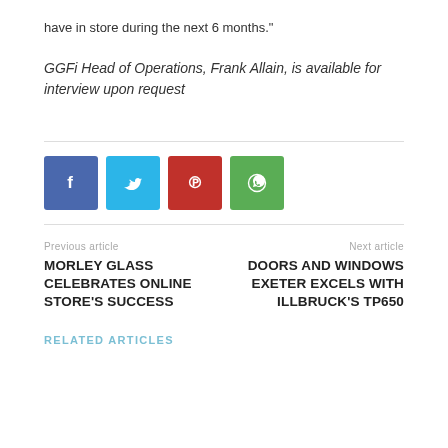have in store during the next 6 months."
GGFi Head of Operations, Frank Allain, is available for interview upon request
[Figure (infographic): Four social media share buttons: Facebook (blue), Twitter (light blue), Pinterest (red), WhatsApp (green)]
Previous article
MORLEY GLASS CELEBRATES ONLINE STORE'S SUCCESS
Next article
DOORS AND WINDOWS EXETER EXCELS WITH ILLBRUCK'S TP650
RELATED ARTICLES